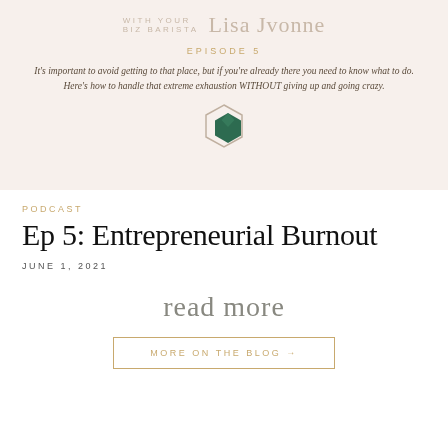[Figure (illustration): Podcast episode card with cream/blush background showing 'WITH YOUR BIZ BARISTA Lisa Johnne' text, EPISODE 5 label, descriptive text about entrepreneurial burnout, and a hexagon gem graphic]
PODCAST
Ep 5: Entrepreneurial Burnout
JUNE 1, 2021
read more
MORE ON THE BLOG →